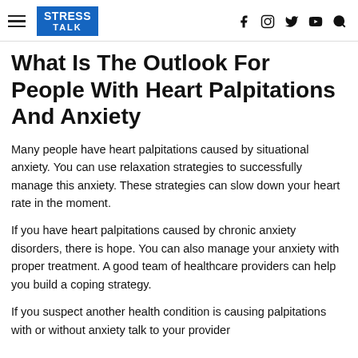STRESS TALK
What Is The Outlook For People With Heart Palpitations And Anxiety
Many people have heart palpitations caused by situational anxiety. You can use relaxation strategies to successfully manage this anxiety. These strategies can slow down your heart rate in the moment.
If you have heart palpitations caused by chronic anxiety disorders, there is hope. You can also manage your anxiety with proper treatment. A good team of healthcare providers can help you build a coping strategy.
If you suspect another health condition is causing palpitations with or without anxiety talk to your provider